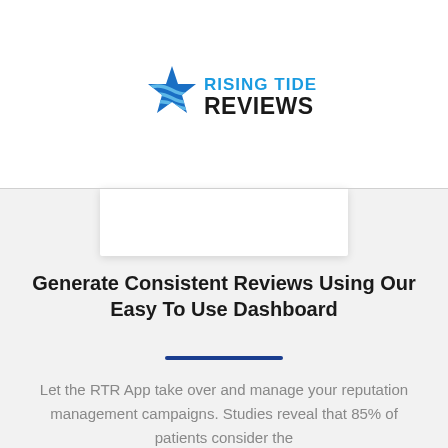[Figure (logo): Rising Tide Reviews logo with a blue star and wave icon on the left, and text 'RISING TIDE' in blue and 'REVIEWS' in black bold on the right]
Generate Consistent Reviews Using Our Easy To Use Dashboard
Let the RTR App take over and manage your reputation management campaigns. Studies reveal that 85% of patients consider the